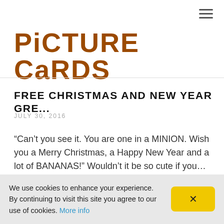PICTURE CARDS
FREE CHRISTMAS AND NEW YEAR GRE...
JULY 30, 2016
“Can’t you see it. You are one in a MINION. Wish you a Merry Christmas, a Happy New Year and a lot of BANANAS!” Wouldn’t it be so cute if you…
READ MORE →
We use cookies to enhance your experience. By continuing to visit this site you agree to our use of cookies. More info